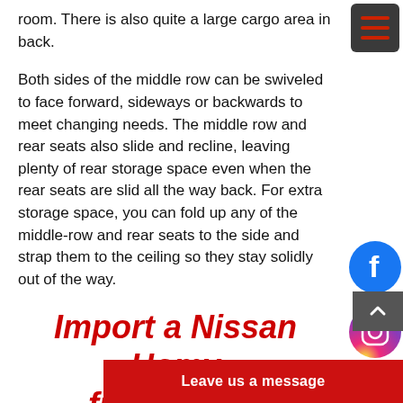room. There is also quite a large cargo area in back.
Both sides of the middle row can be swiveled to face forward, sideways or backwards to meet changing needs. The middle row and rear seats also slide and recline, leaving plenty of rear storage space even when the rear seats are slid all the way back. For extra storage space, you can fold up any of the middle-row and rear seats to the side and strap them to the ceiling so they stay solidly out of the way.
Import a Nissan Homy from Japan
At Japan Car Direct, we heartily recommend importing a Nissan Homy from Japan. For so many reasons — including low cost of ownership and the same level of quality and comfort as outstanding